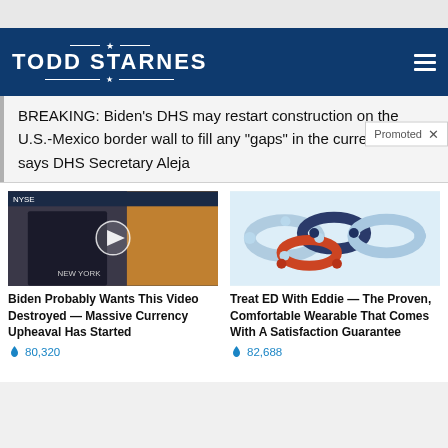TODD STARNES
BREAKING: Biden's DHS may restart construction on the U.S.-Mexico border wall to fill any “gaps” in the current barrier, says DHS Secretary Aleja
Promoted
[Figure (screenshot): Video thumbnail showing news studio with man in dark suit, play button overlay]
Biden Probably Wants This Video Destroyed — Massive Currency Upheaval Has Started
🔥 80,320
[Figure (photo): Product photo showing curved ring/wearable devices in light blue, orange, and navy colors on white background]
Treat ED With Eddie — The Proven, Comfortable Wearable That Comes With A Satisfaction Guarantee
🔥 82,688